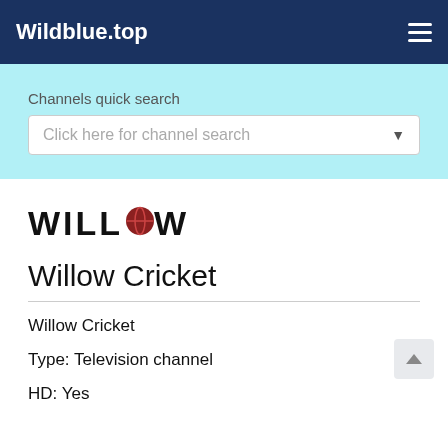Wildblue.top
Channels quick search
Click here for channel search
[Figure (logo): Willow Cricket channel logo with stylized text WILLOW and a red cricket ball replacing the O]
Willow Cricket
Willow Cricket
Type: Television channel
HD: Yes